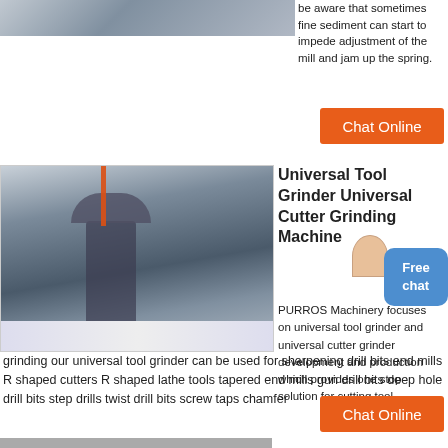[Figure (photo): Top partial photo of industrial machinery/factory setting (cropped at top)]
be aware that sometimes fine sediment can start to impede adjustment of the mill and jam up the spring.
Chat Online
[Figure (photo): Large industrial grinding mill machine inside a factory with steel structure columns and flags in background]
Universal Tool Grinder Universal Cutter Grinding Machine
PURROS Machinery focuses on universal tool grinder and universal cutter grinder development and production which provides one stop solution for cutting tool grinding our universal tool grinder can be used for sharpening drill bits end mills R shaped cutters R shaped lathe tools tapered end mills gun drill bits deep hole drill bits step drills twist drill bits screw taps chamfer
Chat Online
[Figure (photo): Bottom partial photo strip (cut off at page bottom)]